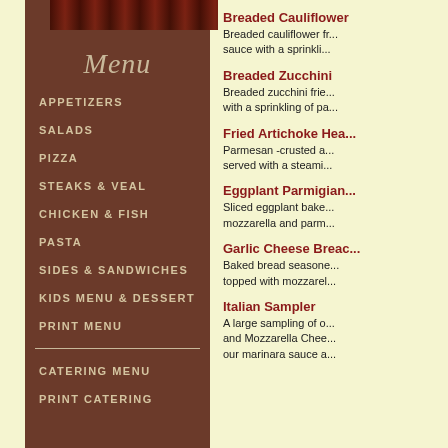[Figure (photo): Top image strip showing food/restaurant imagery in red/brown tones]
Menu
APPETIZERS
SALADS
PIZZA
STEAKS & VEAL
CHICKEN & FISH
PASTA
SIDES & SANDWICHES
KIDS MENU & DESSERT
PRINT MENU
CATERING MENU
PRINT CATERING
Breaded Cauliflower
Breaded cauliflower fr... sauce with a sprinkli...
Breaded Zucchini
Breaded zucchini frie... with a sprinkling of pa...
Fried Artichoke Hea...
Parmesan -crusted a... served with a steami...
Eggplant Parmigian...
Sliced eggplant bake... mozzarella and parm...
Garlic Cheese Breac...
Baked bread seasone... topped with mozzarel...
Italian Sampler
A large sampling of o... and Mozzarella Chee... our marinara sauce a...